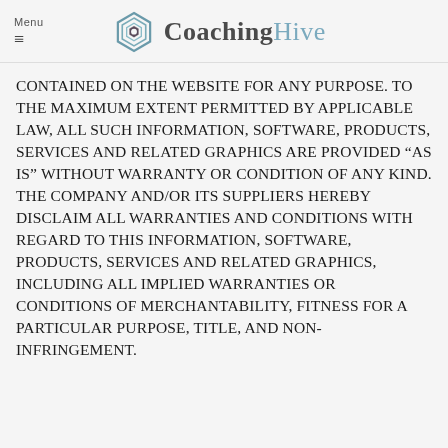Menu  CoachingHive
CONTAINED ON THE WEBSITE FOR ANY PURPOSE. TO THE MAXIMUM EXTENT PERMITTED BY APPLICABLE LAW, ALL SUCH INFORMATION, SOFTWARE, PRODUCTS, SERVICES AND RELATED GRAPHICS ARE PROVIDED “AS IS” WITHOUT WARRANTY OR CONDITION OF ANY KIND. THE COMPANY AND/OR ITS SUPPLIERS HEREBY DISCLAIM ALL WARRANTIES AND CONDITIONS WITH REGARD TO THIS INFORMATION, SOFTWARE, PRODUCTS, SERVICES AND RELATED GRAPHICS, INCLUDING ALL IMPLIED WARRANTIES OR CONDITIONS OF MERCHANTABILITY, FITNESS FOR A PARTICULAR PURPOSE, TITLE, AND NON-INFRINGEMENT.